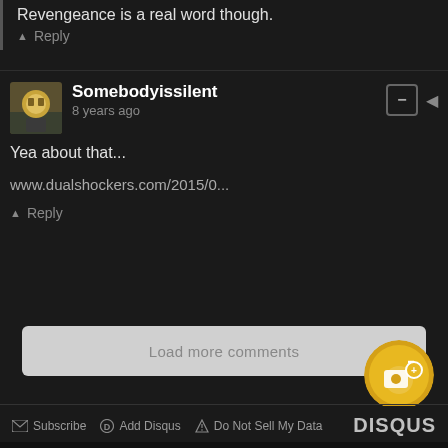Revengeance is a real word though.
Reply
Somebodyissilent
8 years ago
Yea about that...
www.dualshockers.com/2015/0...
Reply
Load more comments
Subscribe  Add Disqus  Do Not Sell My Data   DISQUS